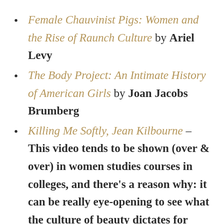Female Chauvinist Pigs: Women and the Rise of Raunch Culture by Ariel Levy
The Body Project: An Intimate History of American Girls by Joan Jacobs Brumberg
Killing Me Softly, Jean Kilbourne – This video tends to be shown (over & over) in women studies courses in colleges, and there's a reason why: it can be really eye-opening to see what the culture of beauty dictates for women through advertising. Kilbourne has other videos that are also wonderfully critical of alcohol, tobacco, and thinness. They're hard to find since they're educational